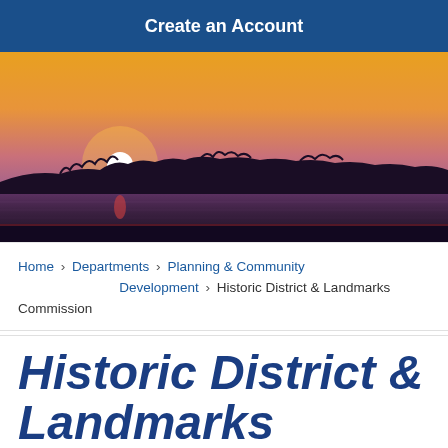Create an Account
[Figure (photo): Sunset landscape photo showing a sun setting over a treeline silhouette with orange and pink sky reflecting on water below]
Home › Departments › Planning & Community Development › Historic District & Landmarks Commission
Historic District & Landmarks Commission